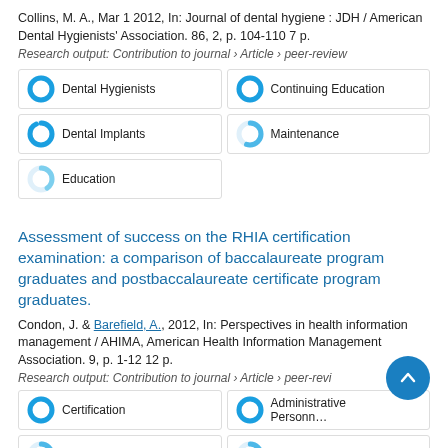Collins, M. A., Mar 1 2012, In: Journal of dental hygiene : JDH / American Dental Hygienists' Association. 86, 2, p. 104-110 7 p.
Research output: Contribution to journal › Article › peer-review
[Figure (infographic): Five keyword badges: Dental Hygienists (full donut), Continuing Education (full donut), Dental Implants (nearly full donut), Maintenance (half donut), Education (40% donut)]
Assessment of success on the RHIA certification examination: a comparison of baccalaureate program graduates and postbaccalaureate certificate program graduates.
Condon, J. & Barefield, A., 2012, In: Perspectives in health information management / AHIMA, American Health Information Management Association. 9, p. 1-12 12 p.
Research output: Contribution to journal › Article › peer-review
[Figure (infographic): Four keyword badges partially visible: Certification (full donut), Administrative Personnel (full donut), Health (half donut), Workforce (half donut)]